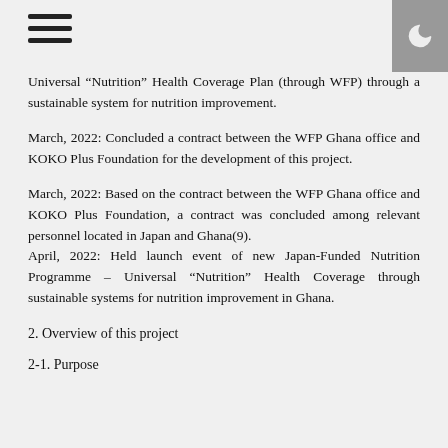Universal "Nutrition" Health Coverage Plan (through WFP) through a sustainable system for nutrition improvement.
March, 2022: Concluded a contract between the WFP Ghana office and KOKO Plus Foundation for the development of this project.
March, 2022: Based on the contract between the WFP Ghana office and KOKO Plus Foundation, a contract was concluded among relevant personnel located in Japan and Ghana(9).
April, 2022: Held launch event of new Japan-Funded Nutrition Programme – Universal "Nutrition" Health Coverage through sustainable systems for nutrition improvement in Ghana.
2. Overview of this project
2-1. Purpose